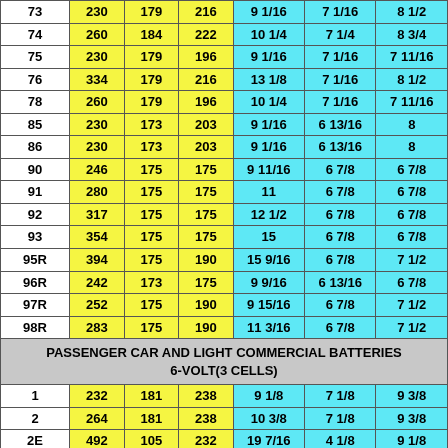|  |  |  |  |  |  |  |
| --- | --- | --- | --- | --- | --- | --- |
| 73 | 230 | 179 | 216 | 9 1/16 | 7 1/16 | 8 1/2 |
| 74 | 260 | 184 | 222 | 10 1/4 | 7 1/4 | 8 3/4 |
| 75 | 230 | 179 | 196 | 9 1/16 | 7 1/16 | 7 11/16 |
| 76 | 334 | 179 | 216 | 13 1/8 | 7 1/16 | 8 1/2 |
| 78 | 260 | 179 | 196 | 10 1/4 | 7 1/16 | 7 11/16 |
| 85 | 230 | 173 | 203 | 9 1/16 | 6 13/16 | 8 |
| 86 | 230 | 173 | 203 | 9 1/16 | 6 13/16 | 8 |
| 90 | 246 | 175 | 175 | 9 11/16 | 6 7/8 | 6 7/8 |
| 91 | 280 | 175 | 175 | 11 | 6 7/8 | 6 7/8 |
| 92 | 317 | 175 | 175 | 12 1/2 | 6 7/8 | 6 7/8 |
| 93 | 354 | 175 | 175 | 15 | 6 7/8 | 6 7/8 |
| 95R | 394 | 175 | 190 | 15 9/16 | 6 7/8 | 7 1/2 |
| 96R | 242 | 173 | 175 | 9 9/16 | 6 13/16 | 6 7/8 |
| 97R | 252 | 175 | 190 | 9 15/16 | 6 7/8 | 7 1/2 |
| 98R | 283 | 175 | 190 | 11 3/16 | 6 7/8 | 7 1/2 |
| PASSENGER CAR AND LIGHT COMMERCIAL BATTERIES 6-VOLT(3 CELLS) |
| 1 | 232 | 181 | 238 | 9 1/8 | 7 1/8 | 9 3/8 |
| 2 | 264 | 181 | 238 | 10 3/8 | 7 1/8 | 9 3/8 |
| 2E | 492 | 105 | 232 | 19 7/16 | 4 1/8 | 9 1/8 |
| 2N | 254 | 141 | 227 | 10 | 5 9/16 | 8 15/16 |